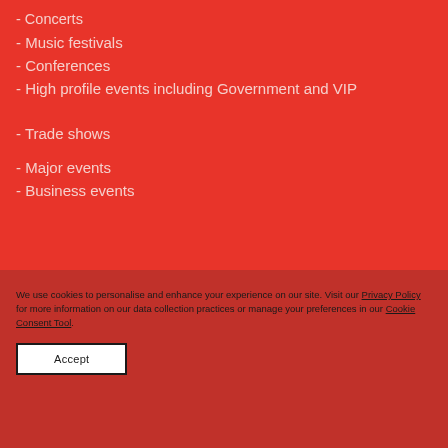- Concerts
- Music festivals
- Conferences
- High profile events including Government and VIP
- Trade shows
- Major events
- Business events
We use cookies to personalise and enhance your experience on our site. Visit our Privacy Policy for more information on our data collection practices or manage your preferences in our Cookie Consent Tool.
Accept